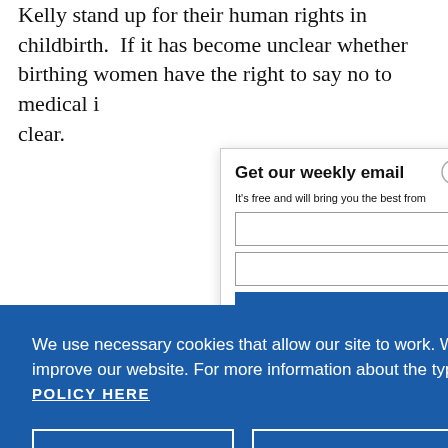Kelly stand up for their human rights in childbirth.  If it has become unclear whether birthing women have the right to say no to medical i... clear.
Get our weekly email
It's free and will bring you the best from
We use necessary cookies that allow our site to work. We also set optional cookies that help us improve our website. For more information about the types of cookies we use. READ OUR COOKIES POLICY HERE
COOKIE SETTINGS
ALLOW ALL COOKIES
data.
Break t